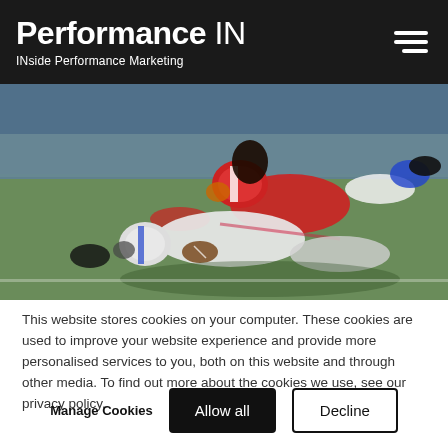Performance IN — INside Performance Marketing
[Figure (photo): American football game action photo showing two players tackling on a field, one in red uniform and one in white uniform]
This website stores cookies on your computer. These cookies are used to improve your website experience and provide more personalised services to you, both on this website and through other media. To find out more about the cookies we use, see our privacy policy.
Manage Cookies  Allow all  Decline